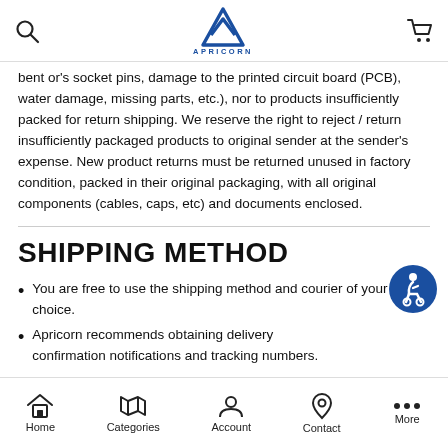Apricorn website navigation header with search and cart icons
bent or's socket pins, damage to the printed circuit board (PCB), water damage, missing parts, etc.), nor to products insufficiently packed for return shipping. We reserve the right to reject / return insufficiently packaged products to original sender at the sender's expense. New product returns must be returned unused in factory condition, packed in their original packaging, with all original components (cables, caps, etc) and documents enclosed.
SHIPPING METHOD
You are free to use the shipping method and courier of your choice.
Apricorn recommends obtaining delivery confirmation notifications and tracking numbers.
(partially visible, cut off)
Home | Categories | Account | Contact | More